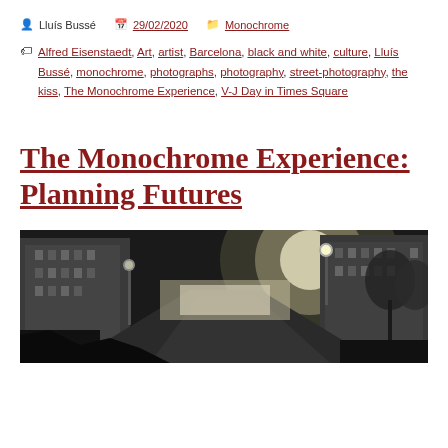Lluís Bussé  29/02/2020  Monochrome
Alfred Eisenstaedt, Art, artist, Barcelona, black and white, culture, Lluís Bussé, monochrome, photographs, photography, street-photography, the kiss, The Monochrome Experience, V-J Day in Times Square
The Monochrome Experience: Planning Futures
[Figure (photo): Black and white street photograph showing a wide street or boulevard with tall buildings on either side, street lamps visible, and bright sun or light source in the background creating lens flare. Trees are visible on the right side.]